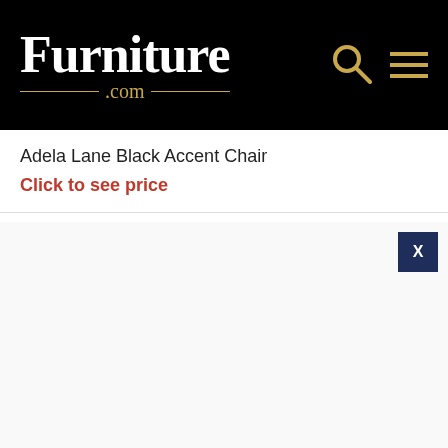Furniture .com
Adela Lane Black Accent Chair
Click to see price
[Figure (screenshot): Empty white content area with a dark navy close button (X) in the top right corner]